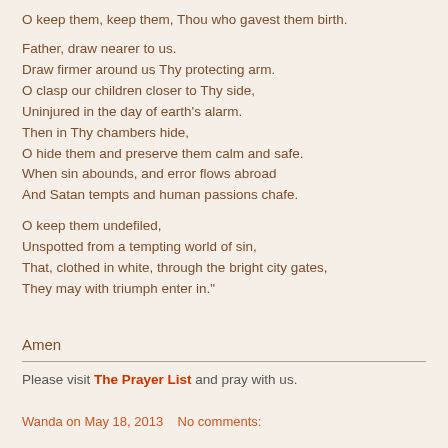O keep them, keep them, Thou who gavest them birth.
Father, draw nearer to us.
Draw firmer around us Thy protecting arm.
O clasp our children closer to Thy side,
Uninjured in the day of earth's alarm.
Then in Thy chambers hide,
O hide them and preserve them calm and safe.
When sin abounds, and error flows abroad
And Satan tempts and human passions chafe.
O keep them undefiled,
Unspotted from a tempting world of sin,
That, clothed in white, through the bright city gates,
They may with triumph enter in."
Amen
Please visit The Prayer List and pray with us.
Wanda on May 18, 2013    No comments: